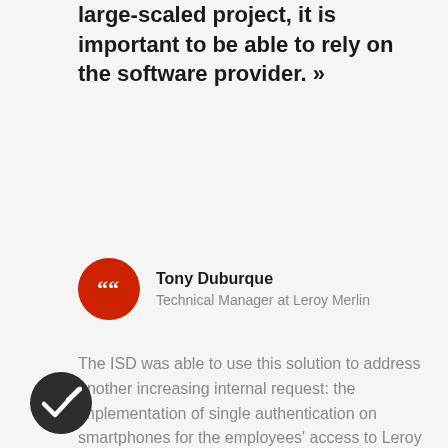large-scaled project, it is important to be able to rely on the software provider. »
Tony Duburque
Technical Manager at Leroy Merlin
The ISD was able to use this solution to address another increasing internal request: the implementation of single authentication on smartphones for the employees' access to Leroy Merlin's mobile applications. A real breakthrough in terms of efficiency, ergonomics and user comfort.